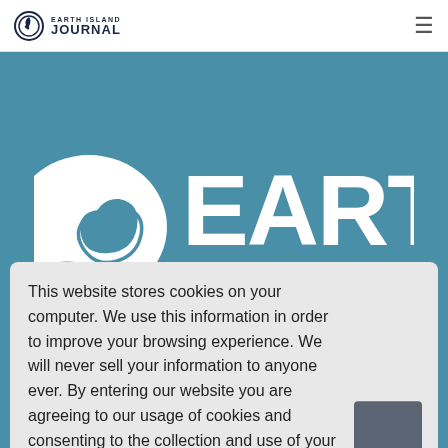[Figure (logo): Earth Island Journal logo with spiral shell icon and text 'EARTH ISLAND JOURNAL']
[Figure (logo): Large white Earth Island logo with spiral shell icon and 'EARTH ISLAND' text on teal/blue background hero section]
Our Work
Take Action
This website stores cookies on your computer. We use this information in order to improve your browsing experience. We will never sell your information to anyone ever. By entering our website you are agreeing to our usage of cookies and consenting to the collection and use of your information.
To find out more about the cookies we use, see our Privacy Policy Page.
About us
Donate